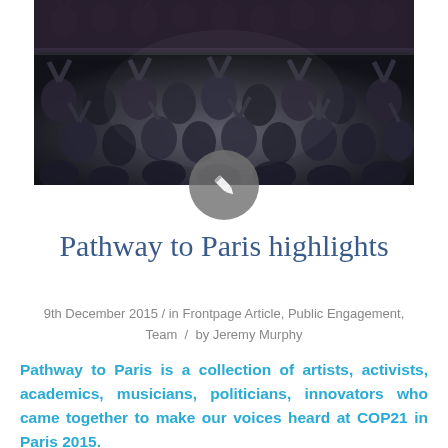[Figure (photo): Black and white photo of a large concert audience in a theater, crowd raising hands, balcony visible in background]
Pathway to Paris highlights
9th December 2015 / in Frontpage Article, Public Engagement, Team / by Jeremy Murphy
Pathway to Paris is a collection of artists, activists, academics, musicians, politicians, innovators who came together to make our voices heard at COP21 in Paris 2015.